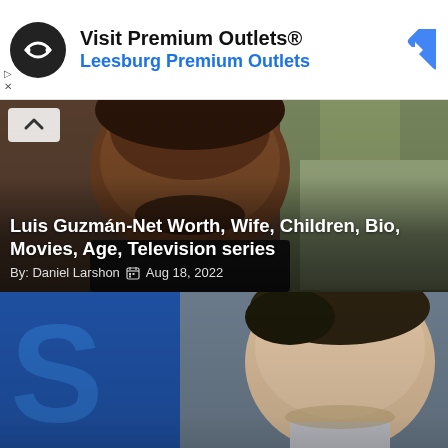[Figure (screenshot): Advertisement banner: Visit Premium Outlets® with infinity loop logo, Leesburg Premium Outlets subtitle in blue, and blue navigation diamond icon]
[Figure (photo): Article card showing Luis Guzmán, a man with dark skin, beard and mustache, wearing a dark tank top. Title: Luis Guzmán-Net Worth, Wife, Children, Bio, Movies, Age, Television series. By: Daniel Larshon, Aug 18, 2022]
[Figure (photo): Article card showing a light-skinned man with dark slicked-back hair, smiling slightly, in front of a blurred blue background with partial text visible]